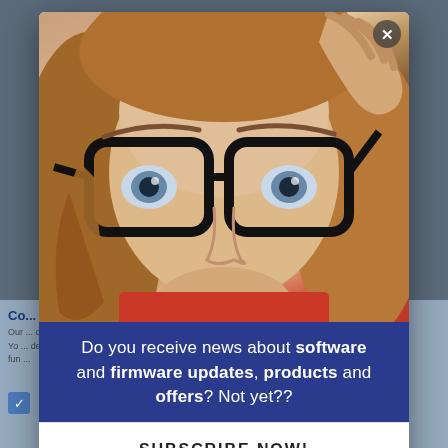[Figure (photo): A young woman with curly auburn hair wearing large black-framed glasses, holding the glasses frame with her right hand. She is wearing a red top. The image serves as the top portion of a modal popup overlay on a webpage.]
Do you receive news about software and firmware updates, products and offers? Not yet??
SUBSCRIBE NOW!